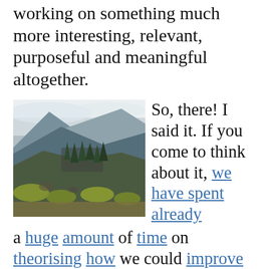working on something much more interesting, relevant, purposeful and meaningful altogether.
[Figure (photo): Landscape photo of a mountainside with evergreen trees, scrubby vegetation, and misty mountains in the background.]
So, there! I said it. If you come to think about it, we have spent already a huge amount of time on theorising how we could improve the way we host, both online remote meetings and face to face ones. Everyone seems to have an opinion, or an